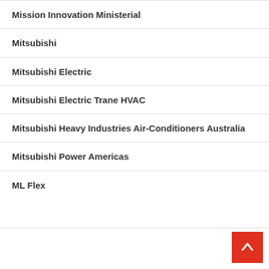Mission Innovation Ministerial
Mitsubishi
Mitsubishi Electric
Mitsubishi Electric Trane HVAC
Mitsubishi Heavy Industries Air-Conditioners Australia
Mitsubishi Power Americas
ML Flex